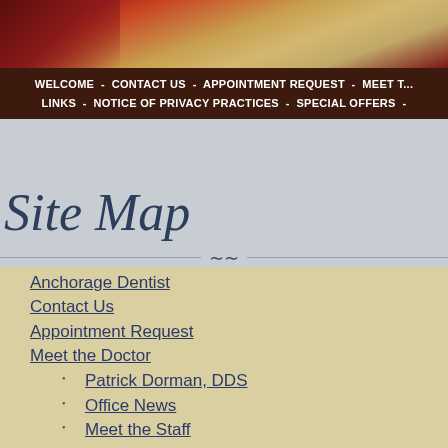[Figure (photo): Decorative header image with dark red and tan gradient background]
WELCOME - CONTACT US - APPOINTMENT REQUEST - MEET T... LINKS - NOTICE OF PRIVACY PRACTICES - SPECIAL OFFERS - ... DAYS THE O...
Site Map
Anchorage Dentist
Contact Us
Appointment Request
Meet the Doctor
Patrick Dorman, DDS
Office News
Meet the Staff
Office Tour
New Patient Information
Testimonials
Faqs